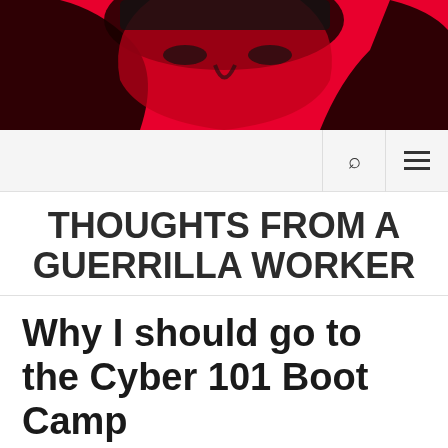[Figure (illustration): Blog header image with red background showing a stylized high-contrast black and red portrait of a person's face]
Navigation bar with search icon and hamburger menu icon
THOUGHTS FROM A GUERRILLA WORKER
Why I should go to the Cyber 101 Boot Camp
Posted on October 15, 2019 by philjackman
[Figure (photo): Partial image strip at bottom of page, gray/dark colored]